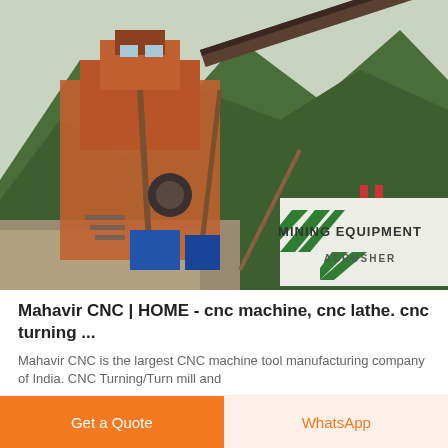[Figure (photo): Mining equipment / crusher plant photo with a large industrial machine on a hillside road surrounded by green mountains. Overlay in lower right shows 'MINING EQUIPMENT ACRUSHER' logo with green diagonal stripes.]
Mahavir CNC | HOME - cnc machine, cnc lathe. cnc turning ...
Mahavir CNC is the largest CNC machine tool manufacturing company of India. CNC Turning/Turn mill and
Get a Quote
WhatsApp